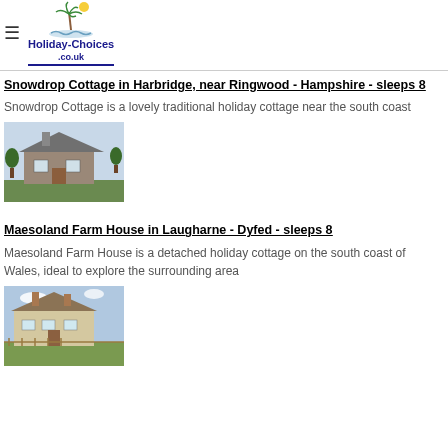Holiday-Choices.co.uk
Snowdrop Cottage in Harbridge, near Ringwood - Hampshire - sleeps 8
Snowdrop Cottage is a lovely traditional holiday cottage near the south coast
[Figure (photo): Photo of Snowdrop Cottage, a stone/brick traditional cottage with a grey roof surrounded by trees and greenery]
Maesoland Farm House in Laugharne - Dyfed - sleeps 8
Maesoland Farm House is a detached holiday cottage on the south coast of Wales, ideal to explore the surrounding area
[Figure (photo): Photo of Maesoland Farm House, a large old stone farmhouse with a fence in front and blue sky]